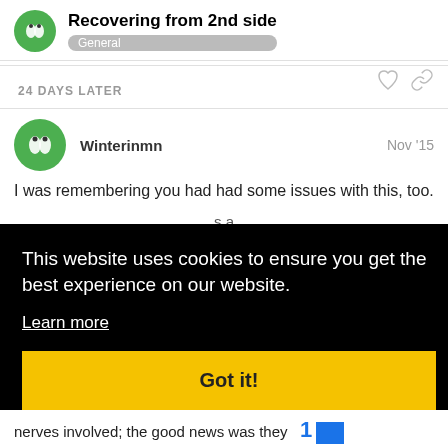Recovering from 2nd side — General
24 DAYS LATER
Winterinmn  Nov '15
I was remembering you had had some issues with this, too.
This website uses cookies to ensure you get the best experience on our website. Learn more
Got it!
nerves involved; the good news was they